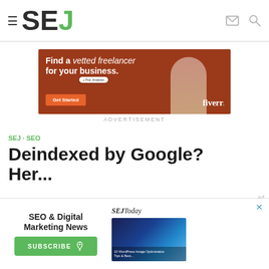[Figure (logo): SEJ (Search Engine Journal) logo with hamburger menu icon on left and mail/search icons on right]
[Figure (photo): Fiverr advertisement banner with orange/brown background, woman in turtleneck, text: Find a vetted freelancer for your business. Get Started button. Fiverr logo.]
ADVERTISEMENT
SEJ · SEO
Deindexed by Google? Here's...
Ad
[Figure (screenshot): Popup overlay with SEO & Digital Marketing News newsletter subscription form with SUBSCRIBE button and SEJToday panel showing WordPress Image Optimization article thumbnail]